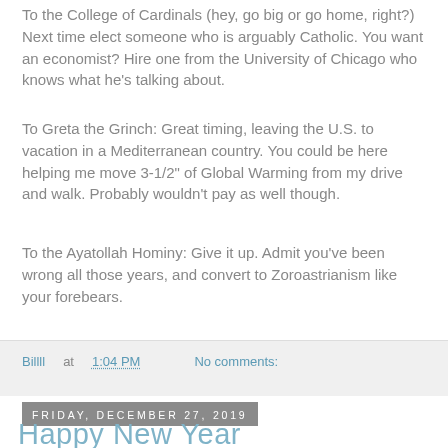To the College of Cardinals (hey, go big or go home, right?) Next time elect someone who is arguably Catholic. You want an economist? Hire one from the University of Chicago who knows what he's talking about.
To Greta the Grinch: Great timing, leaving the U.S. to vacation in a Mediterranean country. You could be here helping me move 3-1/2" of Global Warming from my drive and walk. Probably wouldn't pay as well though.
To the Ayatollah Hominy: Give it up. Admit you've been wrong all those years, and convert to Zoroastrianism like your forebears.
To Fat Kim: Let the Donald build a nice hotel on the coast and maybe he'll get you a Pelloton for your birthday.
Billll at 1:04 PM   No comments:
Friday, December 27, 2019
Happy New Year